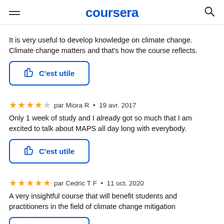coursera
It is very useful to develop knowledge on climate change. Climate change matters and that's how the course reflects.
C'est utile
par Miora R  •  19 avr. 2017
Only 1 week of study and I already got so much that I am excited to talk about MAPS all day long with everybody.
C'est utile
par Cedric T F  •  11 oct. 2020
A very insightful course that will benefit students and practitioners in the field of climate change mitigation
C'est utile